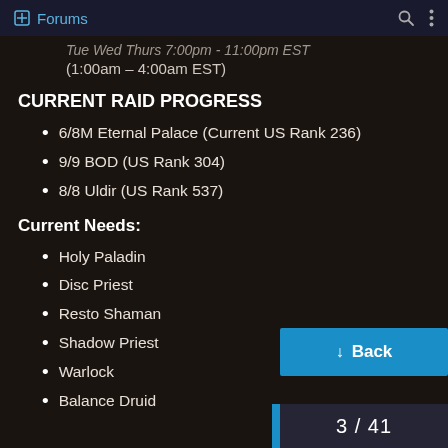Forums
(1:00am – 4:00am EST)
CURRENT RAID PROGRESS
6/8M Eternal Palace (Current US Rank 236)
9/9 BOD (US Rank 304)
8/8 Uldir (US Rank 537)
Current Needs:
Holy Paladin
Disc Priest
Resto Shaman
Shadow Priest
Warlock
Balance Druid